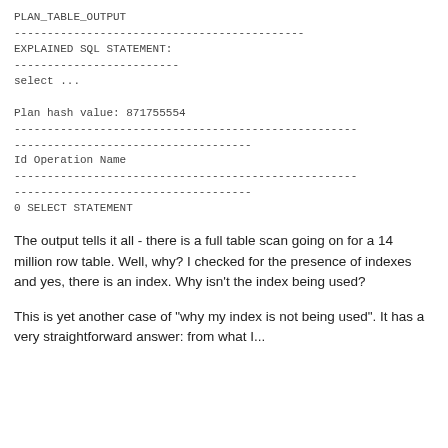PLAN_TABLE_OUTPUT
--------------------------------------------
EXPLAINED SQL STATEMENT:
-------------------------
select ...

Plan hash value: 871755554
----------------------------------------------------
------------------------------------
Id Operation Name
----------------------------------------------------
------------------------------------
0 SELECT STATEMENT
The output tells it all - there is a full table scan going on for a 14 million row table. Well, why? I checked for the presence of indexes and yes, there is an index. Why isn't the index being used?
This is yet another case of "why my index is not being used". It has a very straightforward answer: from what I...